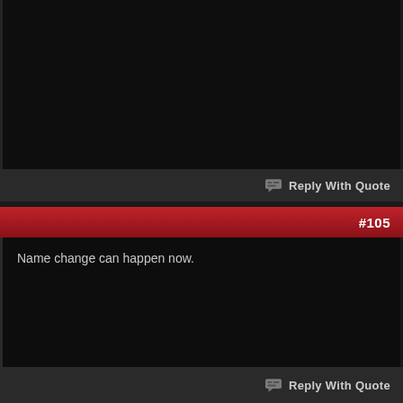Reply With Quote
#105
Name change can happen now.
Reply With Quote